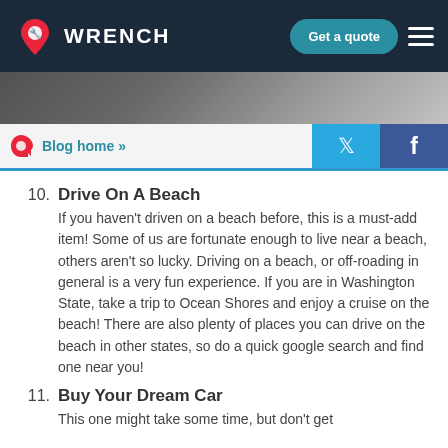WRENCH — Get a quote
[Figure (photo): Hero image strip showing a dark outdoor/automotive scene]
Blog home »
10. Drive On A Beach — If you haven't driven on a beach before, this is a must-add item! Some of us are fortunate enough to live near a beach, others aren't so lucky. Driving on a beach, or off-roading in general is a very fun experience. If you are in Washington State, take a trip to Ocean Shores and enjoy a cruise on the beach! There are also plenty of places you can drive on the beach in other states, so do a quick google search and find one near you!
11. Buy Your Dream Car — This one might take some time, but don't get